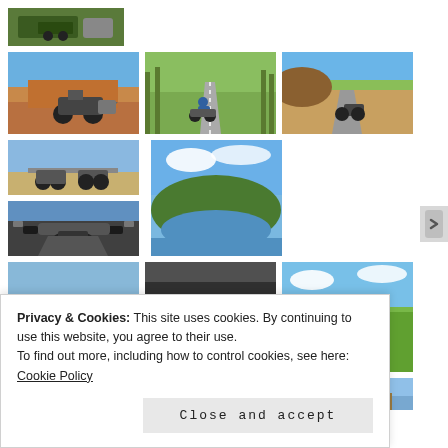[Figure (photo): Grid of motorcycle travel photos showing motorcycles on roads, dirt paths, scenic landscapes with rivers and mountains. Multiple rows of thumbnail images.]
Privacy & Cookies: This site uses cookies. By continuing to use this website, you agree to their use.
To find out more, including how to control cookies, see here: Cookie Policy
Close and accept